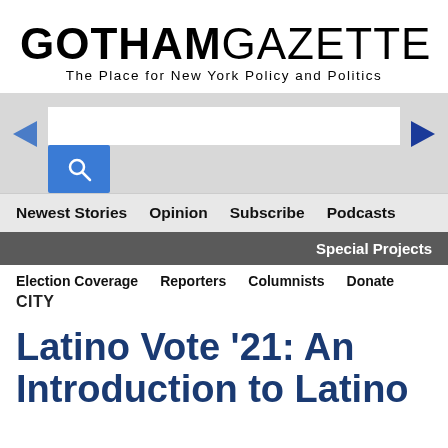[Figure (logo): Gotham Gazette logo with tagline 'The Place for New York Policy and Politics']
[Figure (screenshot): Search bar UI with blue search button and navigation arrows]
Newest Stories  Opinion  Subscribe  Podcasts
Special Projects
Election Coverage  Reporters  Columnists  Donate
CITY
Latino Vote '21: An Introduction to Latino